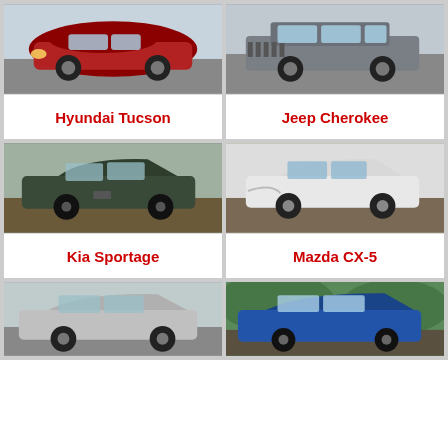[Figure (photo): Red Hyundai Tucson SUV on road]
Hyundai Tucson
[Figure (photo): Gray Jeep Cherokee SUV on road]
Jeep Cherokee
[Figure (photo): Dark green Kia Sportage SUV on dirt road]
Kia Sportage
[Figure (photo): White Mazda CX-5 SUV in front of building]
Mazda CX-5
[Figure (photo): Silver/white Nissan Rogue SUV (partially visible)]
[Figure (photo): Blue Subaru Forester SUV among green trees (partially visible)]